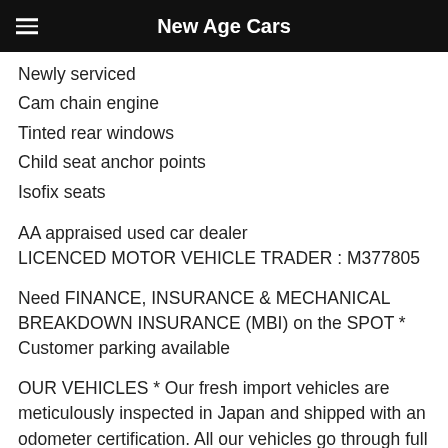New Age Cars
Newly serviced
Cam chain engine
Tinted rear windows
Child seat anchor points
Isofix seats
AA appraised used car dealer
LICENCED MOTOR VEHICLE TRADER : M377805
Need FINANCE, INSURANCE & MECHANICAL BREAKDOWN INSURANCE (MBI) on the SPOT *
Customer parking available
OUR VEHICLES * Our fresh import vehicles are meticulously inspected in Japan and shipped with an odometer certification. All our vehicles go through full safety compliance and then issued with a new WOF for your